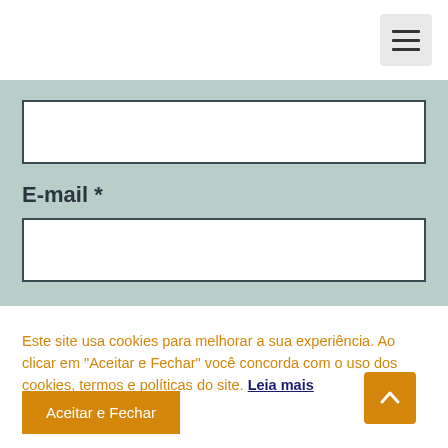[Figure (screenshot): Hamburger menu button (three horizontal lines) on a light gray background in the top-right corner of the page]
[Figure (screenshot): Empty text input field with white background and dark border on a teal/sage green form background]
E-mail *
[Figure (screenshot): Empty email input field with white background and dark border on a teal/sage green form background]
Este site usa cookies para melhorar a sua experiência. Ao clicar em "Aceitar e Fechar" você concorda com o uso dos cookies, termos e políticas do site. Leia mais
[Figure (screenshot): Orange 'Aceitar e Fechar' (Accept and Close) button and orange scroll-to-top arrow button]